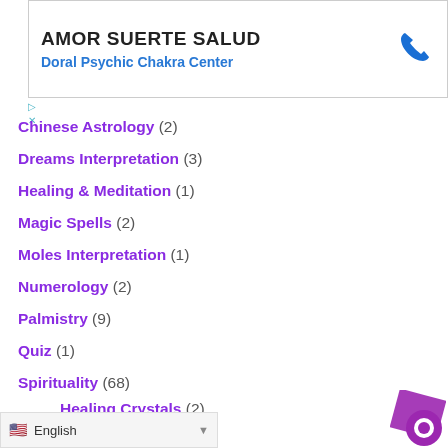[Figure (other): Advertisement banner for Amor Suerte Salud / Doral Psychic Chakra Center with phone icon]
Chinese Astrology (2)
Dreams Interpretation (3)
Healing & Meditation (1)
Magic Spells (2)
Moles Interpretation (1)
Numerology (2)
Palmistry (9)
Quiz (1)
Spirituality (68)
Healing Crystals (2)
Tarot Cards (78)
Major Arcana (22)
English